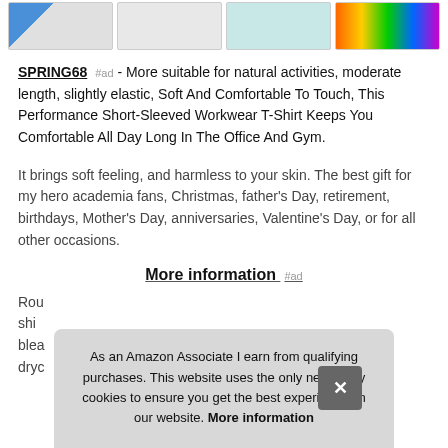[Figure (other): Four product thumbnail images in a horizontal strip at the top of the page]
SPRING68 #ad - More suitable for natural activities, moderate length, slightly elastic, Soft And Comfortable To Touch, This Performance Short-Sleeved Workwear T-Shirt Keeps You Comfortable All Day Long In The Office And Gym.
It brings soft feeling, and harmless to your skin. The best gift for my hero academia fans, Christmas, father's Day, retirement, birthdays, Mother's Day, anniversaries, Valentine's Day, or for all other occasions.
More information #ad
Rou
shi
blea
dryc
As an Amazon Associate I earn from qualifying purchases. This website uses the only necessary cookies to ensure you get the best experience on our website. More information